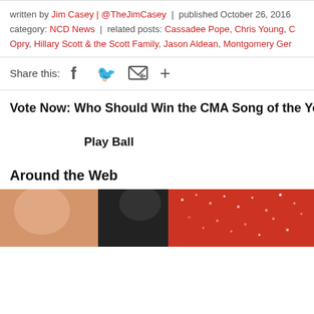written by Jim Casey | @TheJimCasey | published October 26, 2016
category: NCD News | related posts: Cassadee Pope, Chris Young, C... Opry, Hillary Scott & the Scott Family, Jason Aldean, Montgomery Ger...
Share this: [Facebook] [Twitter] [Email] [+]
Vote Now: Who Should Win the CMA Song of the Year A...
Play Ball
Around the Web
[Figure (photo): Partial photo strip showing a person, cropped at bottom of page]